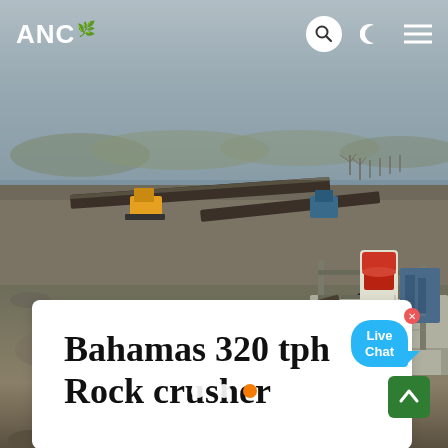[Figure (photo): Aerial drone view of a large rock crushing / quarry site with heavy conveyor equipment, industrial machinery on the right including a cone crusher and processing plant, and a hazy landscape in the background.]
ANC 🌿  [search icon] [moon icon] [menu icon]
Bahamas 320 tph Rock crusher
[Figure (other): Live Chat speech bubble widget with close button]
● ● ● (carousel dot indicators, third dot active/orange)
[Figure (other): Green scroll-to-top button with up arrow]